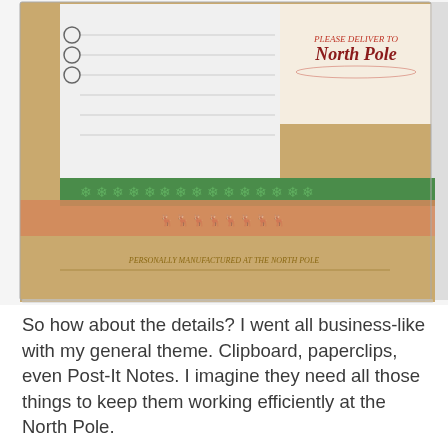[Figure (photo): Close-up photo of a Christmas-themed clipboard with North Pole branding, green snowflake washi tape, Santa's sleigh silhouette, kraft paper back, and lined notepad pages with circular checkbox icons.]
So how about the details? I went all business-like with my general theme. Clipboard, paperclips, even Post-It Notes. I imagine they need all those things to keep them working efficiently at the North Pole.
[Figure (photo): Close-up photo of a Christmas Post-It Note pad reading 'Santa's Take Note' with checkboxes for NAUGHTY and NICE, featuring a pink illustrated Santa face at the bottom, placed on a clipboard with green snowflake tape and gold ruler.]